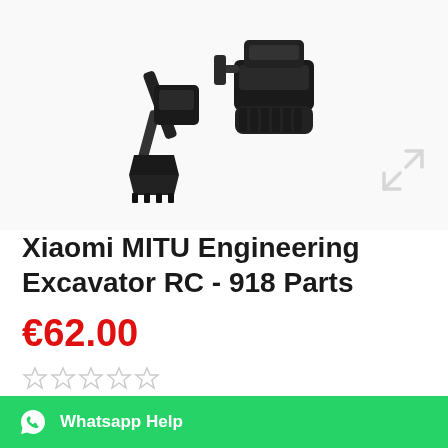[Figure (photo): Product photo of Xiaomi MITU Engineering Excavator RC toy: a small excavator with bucket arm and tracked chassis, shown against white background]
Xiaomi MITU Engineering Excavator RC - 918 Parts
€62.00
[Figure (other): Five empty/unfilled star rating icons in light gray]
The Xiaomi MITU engineering excavator is the star of every construction site. With its 918 components, the vehicle shows an enormous love of detail and cuts a good figure as well as in the children's room.
Whatsapp Help